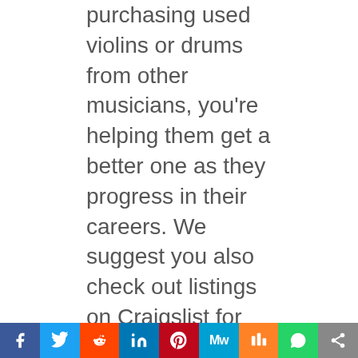purchasing used violins or drums from other musicians, you're helping them get a better one as they progress in their careers. We suggest you also check out listings on Craigslist for fantastic deals on music gear.
Household Or Kitchen Appliances
Generally, purchasing new kitchen appliances from a department store may exceed a couple of thousand dollars. So, why not buy both large and smaller devices like a blender or mixer second-hand locally or on eBay and Craigslist?
Buying pre-owned household appliances like washing machines, fridges, and microwaves is
[Figure (infographic): Social sharing bar with icons for Facebook, Twitter, Reddit, LinkedIn, Pinterest, MixedWrench, Mix, WhatsApp, and Share]